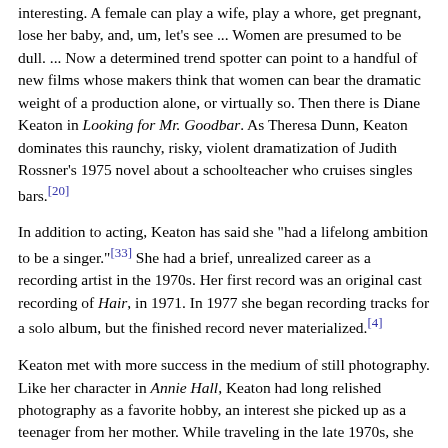interesting. A female can play a wife, play a whore, get pregnant, lose her baby, and, um, let's see ... Women are presumed to be dull. ... Now a determined trend spotter can point to a handful of new films whose makers think that women can bear the dramatic weight of a production alone, or virtually so. Then there is Diane Keaton in Looking for Mr. Goodbar. As Theresa Dunn, Keaton dominates this raunchy, risky, violent dramatization of Judith Rossner's 1975 novel about a schoolteacher who cruises singles bars.[20]
In addition to acting, Keaton has said she "had a lifelong ambition to be a singer."[33] She had a brief, unrealized career as a recording artist in the 1970s. Her first record was an original cast recording of Hair, in 1971. In 1977 she began recording tracks for a solo album, but the finished record never materialized.[4]
Keaton met with more success in the medium of still photography. Like her character in Annie Hall, Keaton had long relished photography as a favorite hobby, an interest she picked up as a teenager from her mother. While traveling in the late 1970s, she began exploring her avocation more seriously. "Rolling Stone had asked me to take photographs for them, and I thought, 'Wait a minute, what I'm really interested in is these lobbies, and these strange ballrooms in these old hotels! So I began shooting them'"